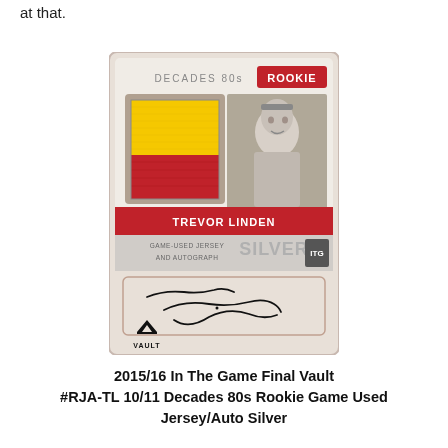at that.
[Figure (photo): 2015/16 In The Game Final Vault hockey card for Trevor Linden — Decades 80s Rookie Game-Used Jersey and Autograph Silver variant. Card shows a jersey swatch (yellow and red fabric), a black-and-white photo of young Trevor Linden, text reading DECADES 80s ROOKIE, GAME-USED JERSEY AND AUTOGRAPH SILVER, TREVOR LINDEN, a large autograph in the lower panel, and a VAULT logo at the bottom.]
2015/16 In The Game Final Vault #RJA-TL 10/11 Decades 80s Rookie Game Used Jersey/Auto Silver